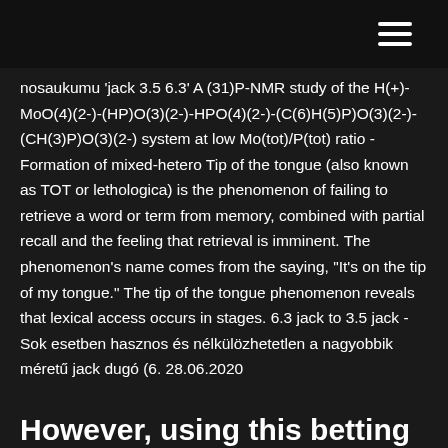[hamburger menu icon]
nosaukumu 'jack 3.5 6.3' A (31)P-NMR study of the H(+)-MoO(4)(2-)-(HP)O(3)(2-)-HPO(4)(2-)-(C(6)H(5)P)O(3)(2-)-(CH(3)P)O(3)(2-) system at low Mo(tot)/P(tot) ratio - Formation of mixed-hetero Tip of the tongue (also known as TOT or lethologica) is the phenomenon of failing to retrieve a word or term from memory, combined with partial recall and the feeling that retrieval is imminent. The phenomenon's name comes from the saying, "It's on the tip of my tongue." The tip of the tongue phenomenon reveals that lexical access occurs in stages. 6.3 jack to 3.5 jack - Sok esetben hasznos és nélkülözhetetlen a nagyobbik méretű jack dugó (6. 28.06.2020
However, using this betting